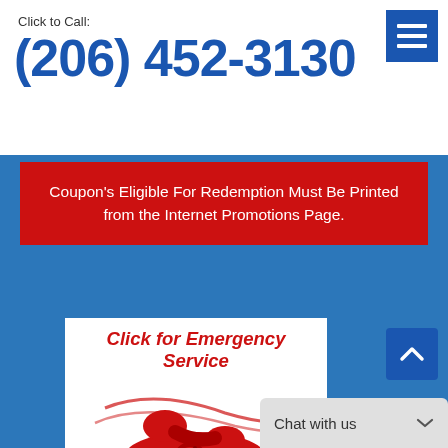Click to Call:
(206) 452-3130
[Figure (other): Hamburger menu icon button (blue square with three white horizontal bars)]
Coupon's Eligible For Redemption Must Be Printed from the Internet Promotions Page.
[Figure (illustration): White box with red italic bold text 'Click for Emergency Service' and a red rotary telephone illustration below]
[Figure (other): Scroll to top button (blue square with upward chevron arrow)]
Chat with us